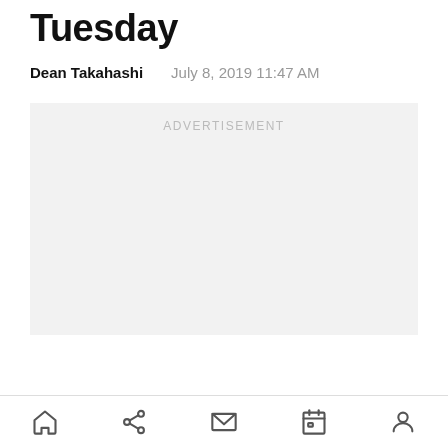Tuesday
Dean Takahashi    July 8, 2019 11:47 AM
[Figure (other): Advertisement placeholder box with label ADVERTISEMENT]
Home | Share | Mail | Calendar | Profile